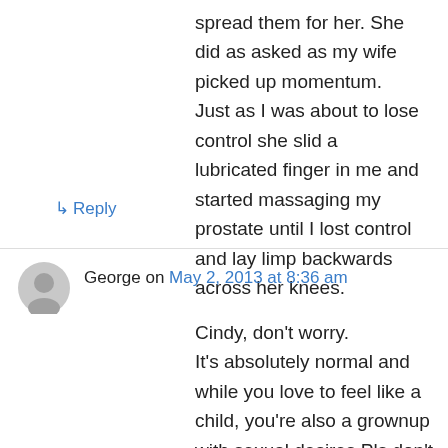spread them for her. She did as asked as my wife picked up momentum. Just as I was about to lose control she slid a lubricated finger in me and started massaging my prostate until I lost control and lay limp backwards across her knees.
↳ Reply
George on May 2, 2013 at 8:36 am
Cindy, don't worry.
It's absolutely normal and while you love to feel like a child, you're also a grownup with sexual desires.Pls don't believe so said experts and live it with responsibility and freedom… enjoy yourself and your femininity!